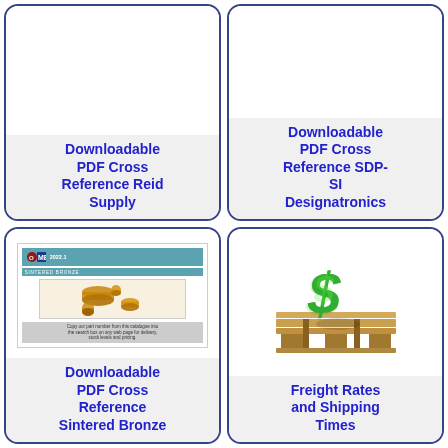[Figure (illustration): Card with white image area at top (partially cropped), bottom shows blue text label]
Downloadable PDF Cross Reference Reid Supply
[Figure (illustration): Card with white image area at top (partially cropped), bottom shows blue text label]
Downloadable PDF Cross Reference SDP-SI Designatronics
[Figure (illustration): MBA Sintered Bronze 2022.1 catalogue cover with bronze parts photo]
Downloadable PDF Cross Reference Sintered Bronze
[Figure (illustration): Green dollar sign standing on a wooden shipping pallet]
Freight Rates and Shipping Times